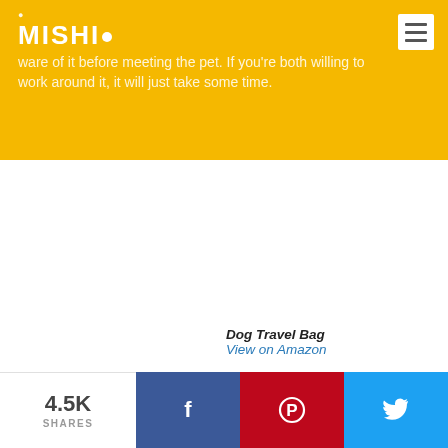MISHI
ware of it before meeting the pet. If you're both willing to work around it, it will just take some time.
[Figure (other): White blank content area, likely an embedded advertisement or image placeholder]
Dog Travel Bag
View on Amazon
4.5K SHARES | Facebook share | Pinterest share | Twitter share